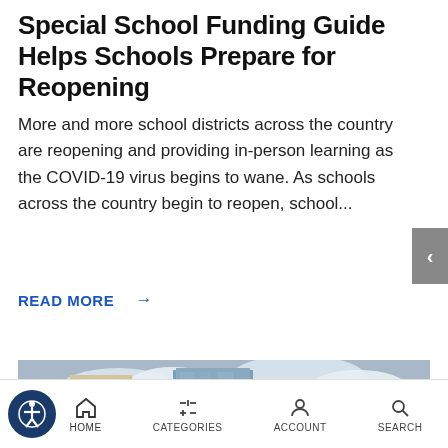Special School Funding Guide Helps Schools Prepare for Reopening
More and more school districts across the country are reopening and providing in-person learning as the COVID-19 virus begins to wane. As schools across the country begin to reopen, school...
READ MORE →
[Figure (photo): Outdoor photo of a person in front of a city skyline with tall skyscrapers and cloudy blue sky. A Park Fast sign is visible in the background.]
HOME   CATEGORIES   ACCOUNT   SEARCH